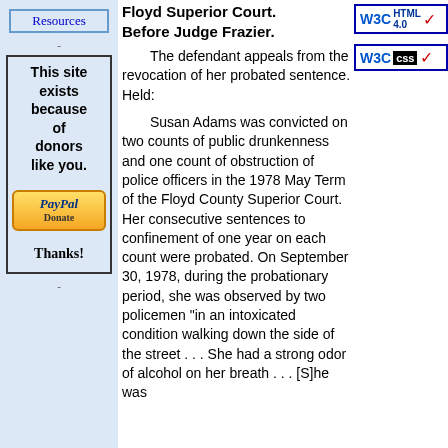[Figure (screenshot): Resources button - blue bordered button with text 'Resources' on light blue background]
[Figure (screenshot): Sidebar box with text 'This site exists because of donors like you.' with PayPal Donate button and 'Thanks!' text]
Revocation of probation. Floyd Superior Court. Before Judge Frazier.
The defendant appeals from the revocation of her probated sentence. Held:
Susan Adams was convicted on two counts of public drunkenness and one count of obstruction of police officers in the 1978 May Term of the Floyd County Superior Court. Her consecutive sentences to confinement of one year on each count were probated. On September 30, 1978, during the probationary period, she was observed by two policemen "in an intoxicated condition walking down the side of the street . . . She had a strong odor of alcohol on her breath . . . [S]he was
[Figure (logo): W3C HTML 4.0 validation badge]
[Figure (logo): W3C CSS validation badge]